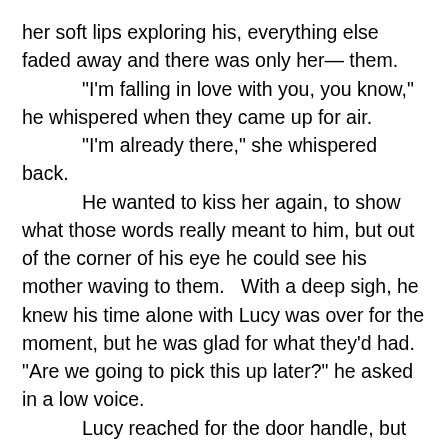her soft lips exploring his, everything else faded away and there was only her— them.
“I’m falling in love with you, you know,” he whispered when they came up for air.
“I’m already there,” she whispered back.
He wanted to kiss her again, to show what those words really meant to him, but out of the corner of his eye he could see his mother waving to them.   With a deep sigh, he knew his time alone with Lucy was over for the moment, but he was glad for what they’d had. “Are we going to pick this up later?” he asked in a low voice.
Lucy reached for the door handle, but smiled over her shoulder. “Definitely.”
He got out and followed behind her as they joined his